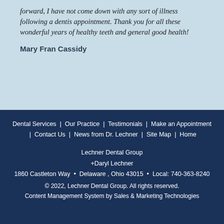forward, I have not come down with any sort of illness following a dentis appointment. Thank you for all these wonderful years of healthy teeth and general good health!
Mary Fran Cassidy
Dental Services | Our Practice | Testimonials | Make an Appointment | Contact Us | News from Dr. Lechner | Site Map | Home
Lechner Dental Group +Daryl Lechner 1860 Castleton Way • Delaware , Ohio 43015 • Local: 740-363-8240
© 2022, Lechner Dental Group. All rights reserved. Content Management System by Sales & Marketing Technologies